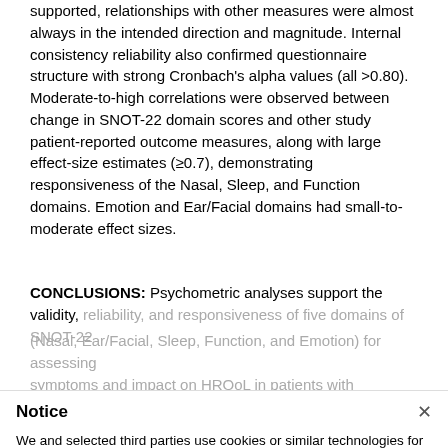supported, relationships with other measures were almost always in the intended direction and magnitude. Internal consistency reliability also confirmed questionnaire structure with strong Cronbach's alpha values (all >0.80). Moderate-to-high correlations were observed between change in SNOT-22 domain scores and other study patient-reported outcome measures, along with large effect-size estimates (≥0.7), demonstrating responsiveness of the Nasal, Sleep, and Function domains. Emotion and Ear/Facial domains had small-to-moderate effect sizes.
CONCLUSIONS: Psychometric analyses support the validity, reliability, and responsiveness of five domains of SNOT-22 (Nasal, Ear/Facial, Sleep, Function, and Emotion) for assessing symptoms and impact on HRQoL in patients with CRSwNP.
Notice
We and selected third parties use cookies or similar technologies for technical purposes and, with your consent, for other purposes as specified in the cookie policy. Denying consent may make related features unavailable.
You can consent to the use of such technologies by closing this notice, by interacting with any link or button outside of this notice or by continuing to browse otherwise.